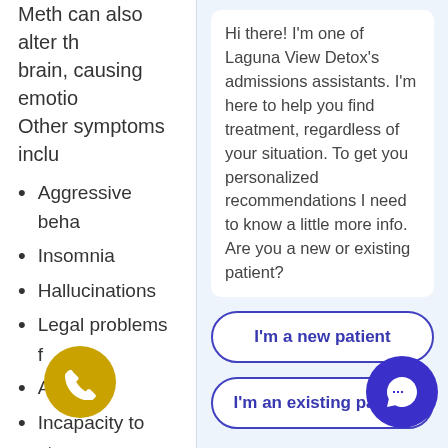Meth can also alter th brain, causing emotio Other symptoms inclu
Aggressive beha
Insomnia
Hallucinations
Legal problems f
Anxiety
Incapacity to sto
Poor hygiene
Cuts from pickin
Pale skin
racked teeth
Tooth decay,
Hi there! I'm one of Laguna View Detox's admissions assistants. I'm here to help you find treatment, regardless of your situation. To get you personalized recommendations I need to know a little more info. Are you a new or existing patient?
I'm a new patient
I'm an existing patient